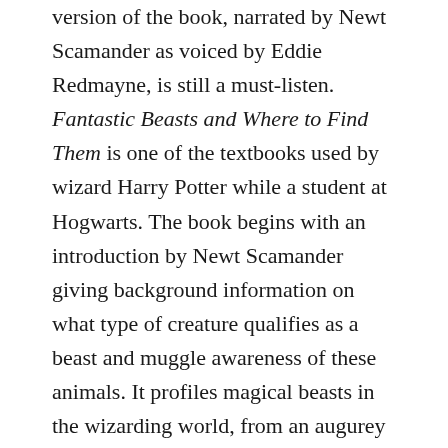version of the book, narrated by Newt Scamander as voiced by Eddie Redmayne, is still a must-listen. Fantastic Beasts and Where to Find Them is one of the textbooks used by wizard Harry Potter while a student at Hogwarts. The book begins with an introduction by Newt Scamander giving background information on what type of creature qualifies as a beast and muggle awareness of these animals. It profiles magical beasts in the wizarding world, from an augurey to a Peruvian vipertooth dragon to the snidget. Each entry has a Ministry of Magic (M. O. M.) classification from X (boring) to XXXXX (known wizard killer/impossible to train or domesticate). Newt Scamander's character, who we were introduced to in the Fantastic Beasts movie, shines through the audio version of this book. Newt's care and concern for magical beasts is apparent in the way in which he describes the beasts. The audiobook bring these creatures to life as we hear